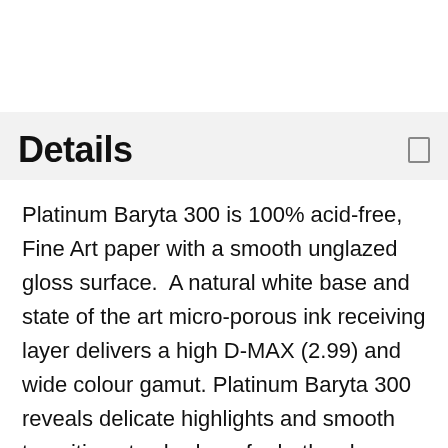Details
Platinum Baryta 300 is 100% acid-free, Fine Art paper with a smooth unglazed gloss surface.  A natural white base and state of the art micro-porous ink receiving layer delivers a high D-MAX (2.99) and wide colour gamut.  Platinum Baryta 300 reveals delicate highlights and smooth transitions to shadows for both colour and B&W printing.  The paper is